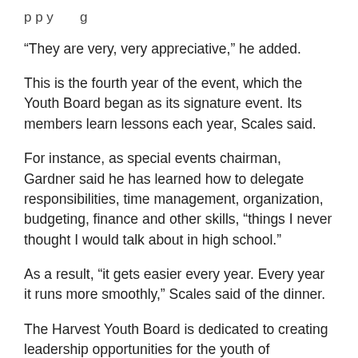p p y g
“They are very, very appreciative,” he added.
This is the fourth year of the event, which the Youth Board began as its signature event. Its members learn lessons each year, Scales said.
For instance, as special events chairman, Gardner said he has learned how to delegate responsibilities, time management, organization, budgeting, finance and other skills, “things I never thought I would talk about in high school.”
As a result, “it gets easier every year. Every year it runs more smoothly,” Scales said of the dinner.
The Harvest Youth Board is dedicated to creating leadership opportunities for the youth of Martinsville / Henry County through health, education and community initiatives, according to the Harvest website. In addition to the Thanksgiving Eve dinner, the board provides grants of up to $5,000 for programs in Martinsville-Henry County that